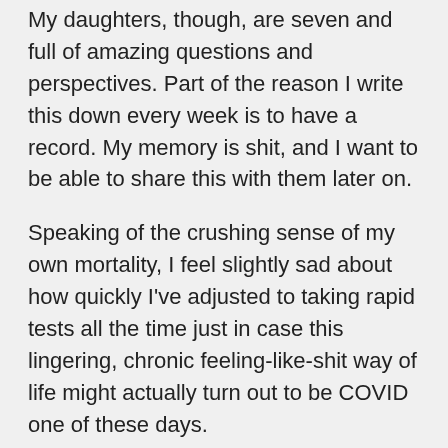My daughters, though, are seven and full of amazing questions and perspectives. Part of the reason I write this down every week is to have a record. My memory is shit, and I want to be able to share this with them later on.
Speaking of the crushing sense of my own mortality, I feel slightly sad about how quickly I've adjusted to taking rapid tests all the time just in case this lingering, chronic feeling-like-shit way of life might actually turn out to be COVID one of these days.
Planning vacations is the way I maintain a modicum of optimism. At any given time, I have three or four planned for the next six months. Sometimes, they happen. But often, I cancel the reservation in time to get a full refund. I have friends who think it's psychotic to program “cancel vacation” into my Reminders as an ongoing habit. I strongly disagree. I think it's hope. Besides which, nothing